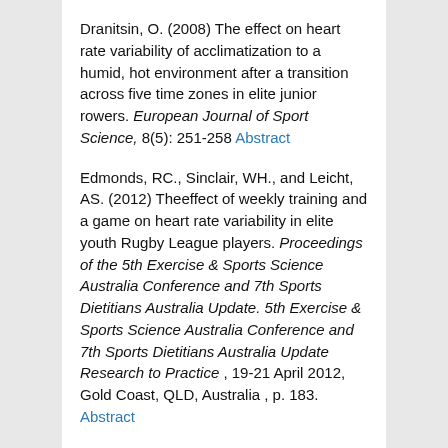Dranitsin, O. (2008) The effect on heart rate variability of acclimatization to a humid, hot environment after a transition across five time zones in elite junior rowers. European Journal of Sport Science, 8(5): 251-258 Abstract
Edmonds, RC., Sinclair, WH., and Leicht, AS. (2012) Theeffect of weekly training and a game on heart rate variability in elite youth Rugby League players. Proceedings of the 5th Exercise & Sports Science Australia Conference and 7th Sports Dietitians Australia Update. 5th Exercise & Sports Science Australia Conference and 7th Sports Dietitians Australia Update Research to Practice , 19-21 April 2012, Gold Coast, QLD, Australia , p. 183. Abstract
Hap, P., Stejskal, P. & Jakubec, A. (2010) Volleyball players training intensity monitoring through the use of spectral analysis of HRV during a training microcycle. Acta Universitatis Palackianae Olomucensis, Gymnica, 41(3): 33-38 Free Full-Text